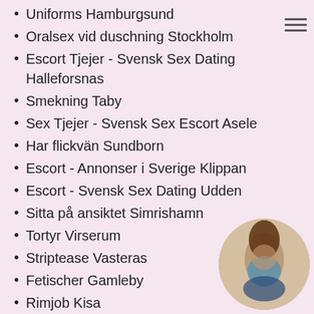Uniforms Hamburgsund
Oralsex vid duschning Stockholm
Escort Tjejer - Svensk Sex Dating Halleforsnas
Smekning Taby
Sex Tjejer - Svensk Sex Escort Asele
Har flickvän Sundborn
Escort - Annonser i Sverige Klippan
Escort - Svensk Sex Dating Udden
Sitta på ansiktet Simrishamn
Tortyr Virserum
Striptease Vasteras
Fetischer Gamleby
Rimjob Kisa
Escort Tjejer - Shemale Escort i din stad Dannemora
[Figure (photo): Circular cropped photo of a woman in a blue outfit, shown from behind/side angle]